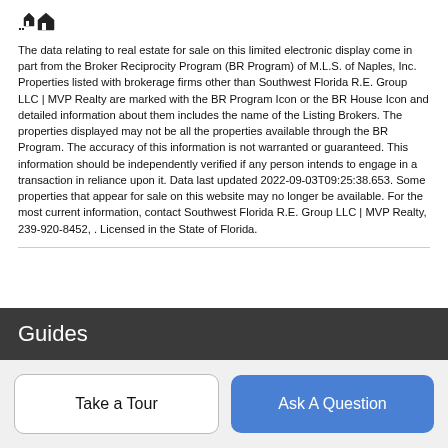[Figure (logo): House/building icon logo for MLS or real estate portal]
The data relating to real estate for sale on this limited electronic display come in part from the Broker Reciprocity Program (BR Program) of M.L.S. of Naples, Inc. Properties listed with brokerage firms other than Southwest Florida R.E. Group LLC | MVP Realty are marked with the BR Program Icon or the BR House Icon and detailed information about them includes the name of the Listing Brokers. The properties displayed may not be all the properties available through the BR Program. The accuracy of this information is not warranted or guaranteed. This information should be independently verified if any person intends to engage in a transaction in reliance upon it. Data last updated 2022-09-03T09:25:38.653. Some properties that appear for sale on this website may no longer be available. For the most current information, contact Southwest Florida R.E. Group LLC | MVP Realty, 239-920-8452, . Licensed in the State of Florida.
Guides
Take a Tour
Ask A Question